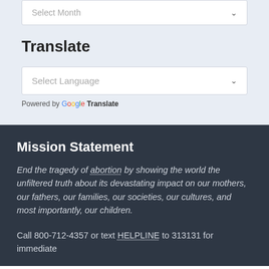Select Month
Translate
Select Language
Powered by Google Translate
Mission Statement
End the tragedy of abortion by showing the world the unfiltered truth about its devastating impact on our mothers, our fathers, our families, our societies, our cultures, and most importantly, our children.
Call 800-712-4357 or text HELPLINE to 313131 for immediate